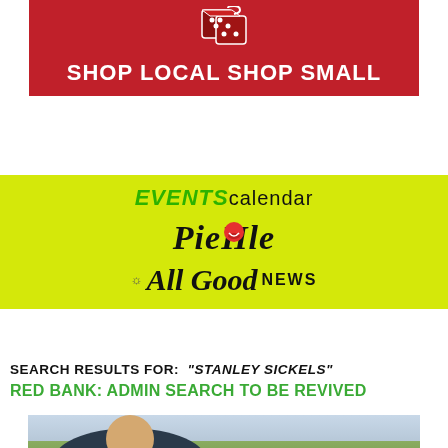[Figure (logo): Shop Local Shop Small banner with red background, logo icon at top, white text reading SHOP LOCAL SHOP SMALL]
[Figure (logo): Yellow-green section with EVENTS calendar text in green/black, PieHole logo in italic script, and All Good NEWS text]
SEARCH RESULTS FOR: "STANLEY SICKELS"
RED BANK: ADMIN SEARCH TO BE REVIVED
[Figure (photo): Outdoor crowd photo showing a man in sunglasses and dark jacket in the foreground with a woman and other people behind him, trees and buildings visible in background]